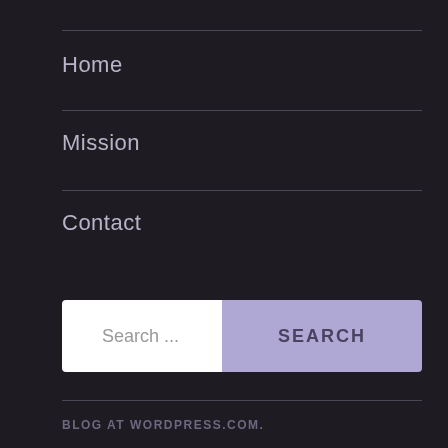Home
Mission
Contact
[Figure (screenshot): Search bar with text input field showing 'Search ...' placeholder and a purple SEARCH button]
BLOG AT WORDPRESS.COM.